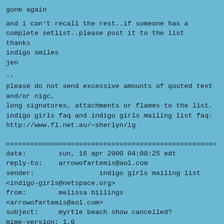gone again
and i can't recall the rest..if someone has a complete setlist..please post it to the list
thanks
indigo smiles
jen
--
please do not send excessive amounts of quoted text and/or nigc,
long signatures, attachments or flames to the list.
indigo girls faq and indigo girls mailing list faq:
http://www.fl.net.au/~sherlyn/ig
=====================================================
date:        sun, 16 apr 2000 04:00:25 edt
reply-to:    arrowofartemis@aol.com
sender:                indigo girls mailing list <indigo-girls@netspace.org>
from:        melissa billings <arrowofartemis@aol.com>
subject:     myrtle beach show cancelled?
mime-version: 1.0
content-type: text/plain; charset="us-ascii"
content-transfer-encoding: 7bit